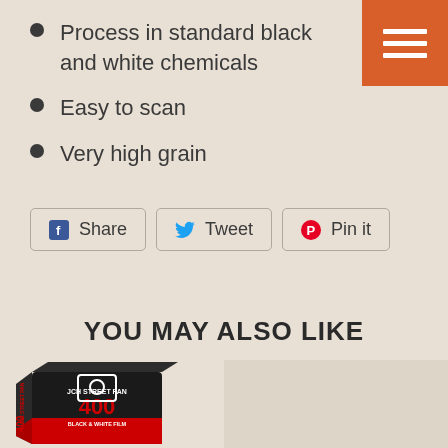Process in standard black and white chemicals
Easy to scan
Very high grain
Share  Tweet  Pin it
YOU MAY ALSO LIKE
[Figure (photo): JCH Street Pan 400 film box, black and red packaging]
[Figure (photo): Second product placeholder image]